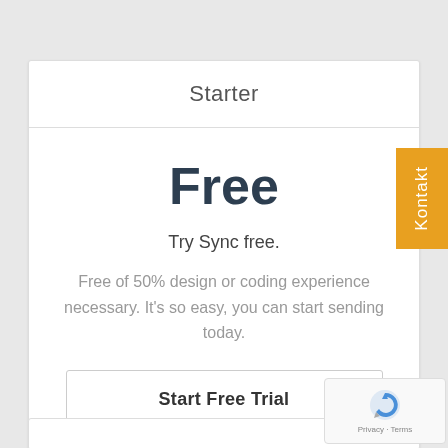Starter
Free
Try Sync free.
Free of 50% design or coding experience necessary. It's so easy, you can start sending today.
Start Free Trial